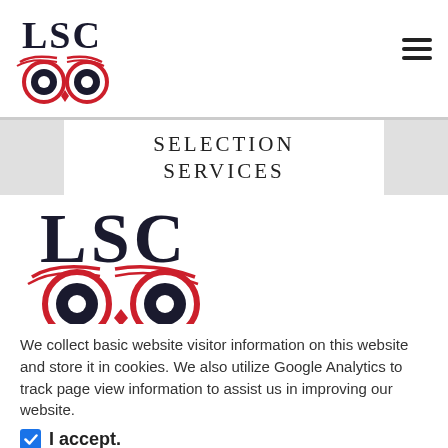LSC
SELECTION
SERVICES
[Figure (logo): LSC owl logo — large version with red eyebrows, two circular owl eyes in red outlines, dark pupils, and red diamond nose]
We collect basic website visitor information on this website and store it in cookies. We also utilize Google Analytics to track page view information to assist us in improving our website.
I accept.
CONTINUE